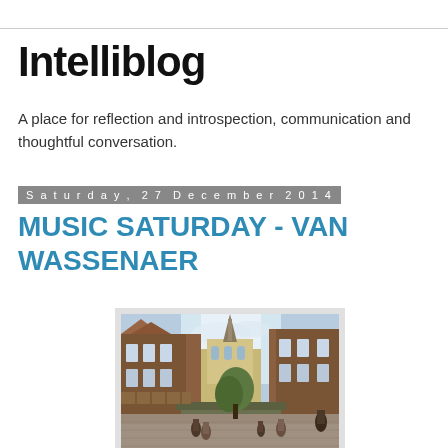Intelliblog
A place for reflection and introspection, communication and thoughtful conversation.
Saturday, 27 December 2014
MUSIC SATURDAY - VAN WASSENAER
[Figure (photo): Historical painting of a Dutch town square or market street with tall brick buildings, a church spire in the background, and people in period dress in the foreground.]